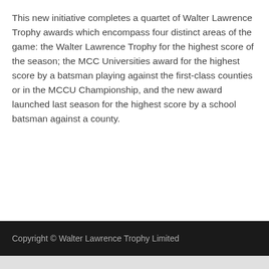This new initiative completes a quartet of Walter Lawrence Trophy awards which encompass four distinct areas of the game: the Walter Lawrence Trophy for the highest score of the season; the MCC Universities award for the highest score by a batsman playing against the first-class counties or in the MCCU Championship, and the new award launched last season for the highest score by a school batsman against a county.
Copyright © Walter Lawrence Trophy Limited